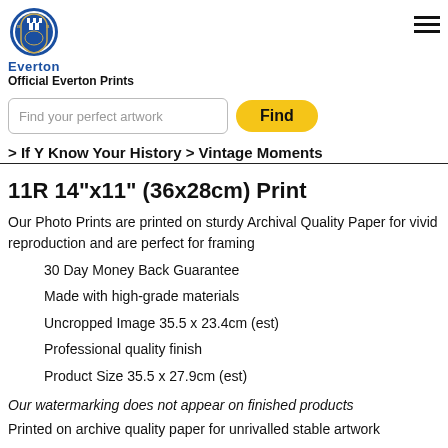Official Everton Prints
Find your perfect artwork
> If Y Know Your History > Vintage Moments
11R 14"x11" (36x28cm) Print
Our Photo Prints are printed on sturdy Archival Quality Paper for vivid reproduction and are perfect for framing
30 Day Money Back Guarantee
Made with high-grade materials
Uncropped Image 35.5 x 23.4cm (est)
Professional quality finish
Product Size 35.5 x 27.9cm (est)
Our watermarking does not appear on finished products
Printed on archive quality paper for unrivalled stable artwork